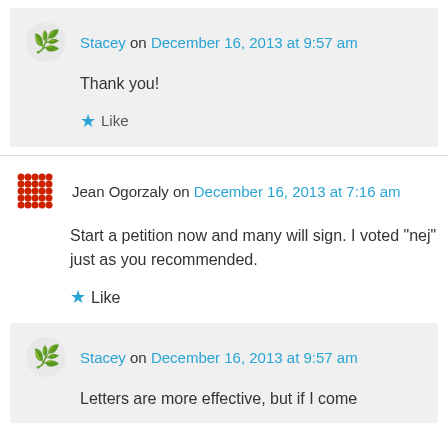Stacey on December 16, 2013 at 9:57 am
Thank you!
Like
Jean Ogorzaly on December 16, 2013 at 7:16 am
Start a petition now and many will sign. I voted “nej” just as you recommended.
Like
Stacey on December 16, 2013 at 9:57 am
Letters are more effective, but if I come